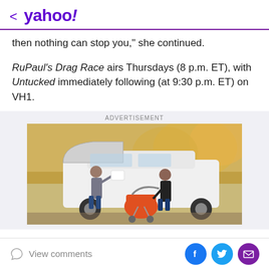< yahoo!
then nothing can stop you," she continued.
RuPaul's Drag Race airs Thursdays (8 p.m. ET), with Untucked immediately following (at 9:30 p.m. ET) on VH1.
ADVERTISEMENT
[Figure (photo): A woman loading or retrieving an orange stroller from the trunk of a white SUV in an autumn outdoor setting, with another person visible near the trunk.]
View comments